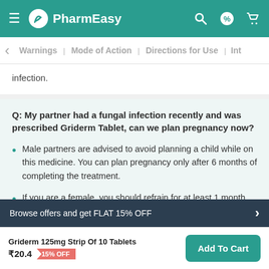PharmEasy
Warnings | Mode of Action | Directions for Use | Int
infection.
Q: My partner had a fungal infection recently and was prescribed Griderm Tablet, can we plan pregnancy now?
Male partners are advised to avoid planning a child while on this medicine. You can plan pregnancy only after 6 months of completing the treatment.
If you are a female, you should refrain for at least 1 month after taking this medicine.
Browse offers and get FLAT 15% OFF
Griderm 125mg Strip Of 10 Tablets ₹20.4 15% OFF
Add To Cart